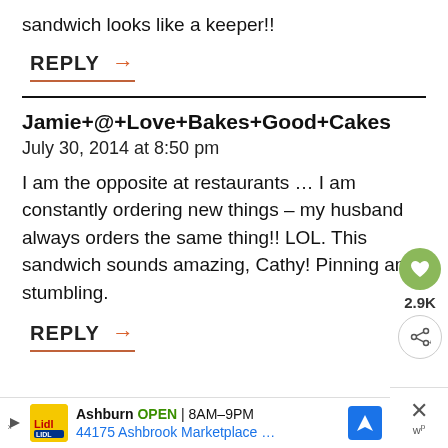sandwich looks like a keeper!!
REPLY →
Jamie+@+Love+Bakes+Good+Cakes
July 30, 2014 at 8:50 pm
I am the opposite at restaurants … I am constantly ordering new things – my husband always orders the same thing!! LOL. This sandwich sounds amazing, Cathy! Pinning and stumbling.
REPLY →
Ashburn OPEN 8AM–9PM 44175 Ashbrook Marketplace …